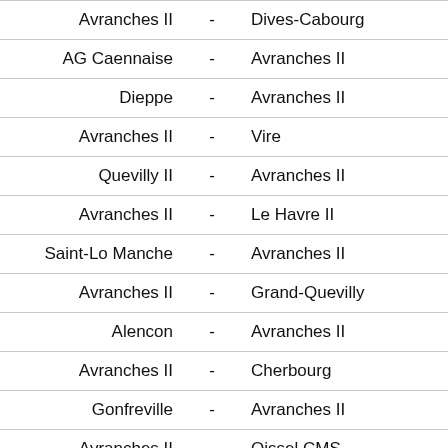| Home |  | Away |
| --- | --- | --- |
| Avranches II | - | Dives-Cabourg |
| AG Caennaise | - | Avranches II |
| Dieppe | - | Avranches II |
| Avranches II | - | Vire |
| Quevilly II | - | Avranches II |
| Avranches II | - | Le Havre II |
| Saint-Lo Manche | - | Avranches II |
| Avranches II | - | Grand-Quevilly |
| Alencon | - | Avranches II |
| Avranches II | - | Cherbourg |
| Gonfreville | - | Avranches II |
| Avranches II | - | Oissel CMS |